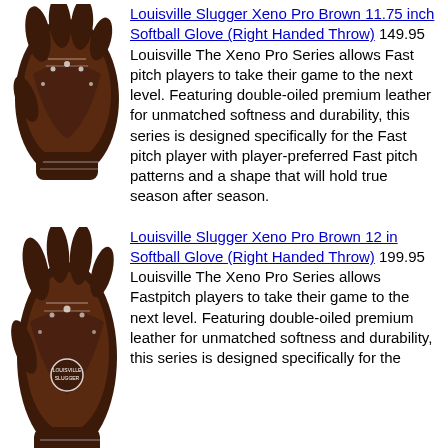[Figure (photo): Louisville Slugger Xeno Pro Brown softball glove, right handed throw, dark brown leather with white lacing, 11.75 inch]
Louisville Slugger Xeno Pro Brown 11.75 inch Softball Glove (Right Handed Throw) 149.95 Louisville The Xeno Pro Series allows Fast pitch players to take their game to the next level. Featuring double-oiled premium leather for unmatched softness and durability, this series is designed specifically for the Fast pitch player with player-preferred Fast pitch patterns and a shape that will hold true season after season.
[Figure (photo): Louisville Slugger Xeno Pro Brown softball glove, right handed throw, dark brown leather, 12 inch]
Louisville Slugger Xeno Pro Brown 12 in Softball Glove (Right Handed Throw) 199.95 Louisville The Xeno Pro Series allows Fastpitch players to take their game to the next level. Featuring double-oiled premium leather for unmatched softness and durability, this series is designed specifically for the